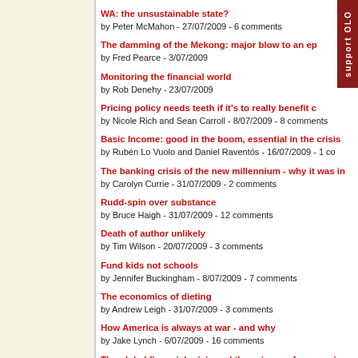WA: the unsustainable state?
by Peter McMahon - 27/07/2009 - 6 comments
The damming of the Mekong: major blow to an ep
by Fred Pearce - 3/07/2009
Monitoring the financial world
by Rob Denehy - 23/07/2009
Pricing policy needs teeth if it's to really benefit c
by Nicole Rich and Sean Carroll - 8/07/2009 - 8 comments
Basic Income: good in the boom, essential in the crisis
by Rubén Lo Vuolo and Daniel Raventós - 16/07/2009 - 1 co
The banking crisis of the new millennium - why it was in
by Carolyn Currie - 31/07/2009 - 2 comments
Rudd-spin over substance
by Bruce Haigh - 31/07/2009 - 12 comments
Death of author unlikely
by Tim Wilson - 20/07/2009 - 3 comments
Fund kids not schools
by Jennifer Buckingham - 8/07/2009 - 7 comments
The economics of dieting
by Andrew Leigh - 31/07/2009 - 3 comments
How America is always at war - and why
by Jake Lynch - 6/07/2009 - 16 comments
The global financial crisis and the science of economics
by Marko Beljac - 15/07/2009 - 29 comments